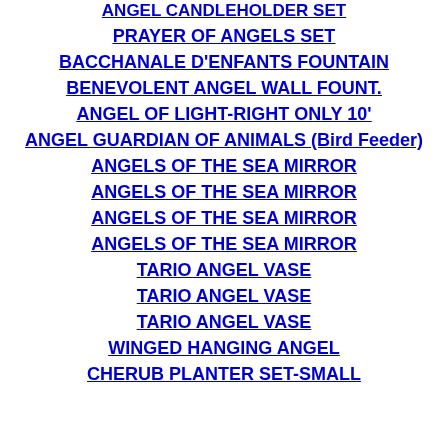ANGEL CANDLEHOLDER SET
PRAYER OF ANGELS SET
BACCHANALE D'ENFANTS FOUNTAIN
BENEVOLENT ANGEL WALL FOUNT.
ANGEL OF LIGHT-RIGHT ONLY 10'
ANGEL GUARDIAN OF ANIMALS (Bird Feeder)
ANGELS OF THE SEA MIRROR
ANGELS OF THE SEA MIRROR
ANGELS OF THE SEA MIRROR
ANGELS OF THE SEA MIRROR
TARIO ANGEL VASE
TARIO ANGEL VASE
TARIO ANGEL VASE
WINGED HANGING ANGEL
CHERUB PLANTER SET-SMALL